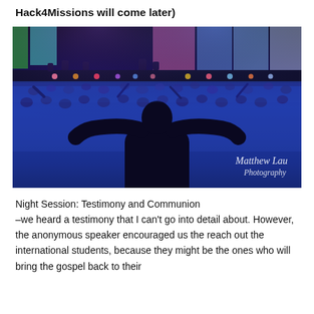Hack4Missions will come later)
[Figure (photo): A large indoor worship/concert event. A silhouetted person with arms raised wide is visible in the foreground, surrounded by a large crowd of people. On stage, band members perform under colorful stage lighting and large screens. Watermark reads 'Matthew Lau Photography'.]
Night Session: Testimony and Communion
–we heard a testimony that I can't go into detail about. However, the anonymous speaker encouraged us the reach out the international students, because they might be the ones who will bring the gospel back to their